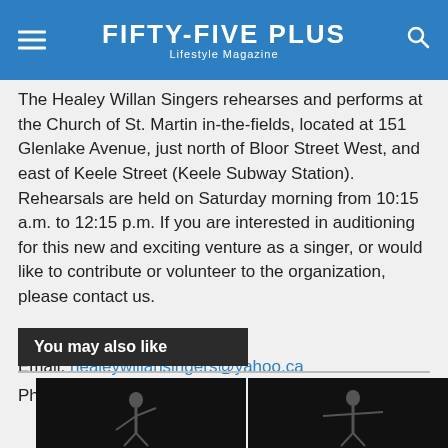FIFTY-FIVE PLUS Lifestyle Magazine
The Healey Willan Singers rehearses and performs at the Church of St. Martin in-the-fields, located at 151 Glenlake Avenue, just north of Bloor Street West, and east of Keele Street (Keele Subway Station). Rehearsals are held on Saturday morning from 10:15 a.m. to 12:15 p.m. If you are interested in auditioning for this new and exciting venture as a singer, or would like to contribute or volunteer to the organization, please contact us.
Healey Willan Singers
Email: healeywillansingers@yahoo.ca
Phone: 416-519-0528
You may also like
[Figure (photo): Performer on dark stage, acrobatic pose]
[Figure (photo): Performer on stage with arms extended, theatrical lighting]